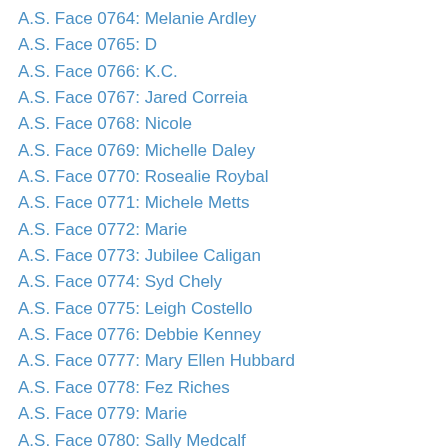A.S. Face 0764: Melanie Ardley
A.S. Face 0765: D
A.S. Face 0766: K.C.
A.S. Face 0767: Jared Correia
A.S. Face 0768: Nicole
A.S. Face 0769: Michelle Daley
A.S. Face 0770: Rosealie Roybal
A.S. Face 0771: Michele Metts
A.S. Face 0772: Marie
A.S. Face 0773: Jubilee Caligan
A.S. Face 0774: Syd Chely
A.S. Face 0775: Leigh Costello
A.S. Face 0776: Debbie Kenney
A.S. Face 0777: Mary Ellen Hubbard
A.S. Face 0778: Fez Riches
A.S. Face 0779: Marie
A.S. Face 0780: Sally Medcalf
A.S. Face 0781: Eduardo
A.S. Face 0782: Jeremy
A.S. Face 0783: Rodel Ciobanu